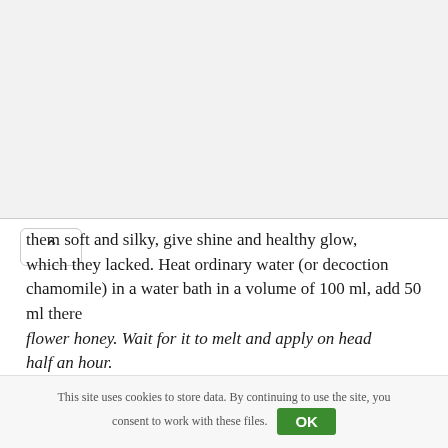them soft and silky, give shine and healthy glow, which they lacked. Heat ordinary water (or decoction chamomile) in a water bath in a volume of 100 ml, add 50 ml there flower honey. Wait for it to melt and apply on head half an hour.
With gelatin
Gelatinous may be a good help mask for dry hair. A tablespoon of gelatin is diluted 3 tablespoons of milk. Leave to swell for 20 minutes.
This site uses cookies to store data. By continuing to use the site, you consent to work with these files. OK